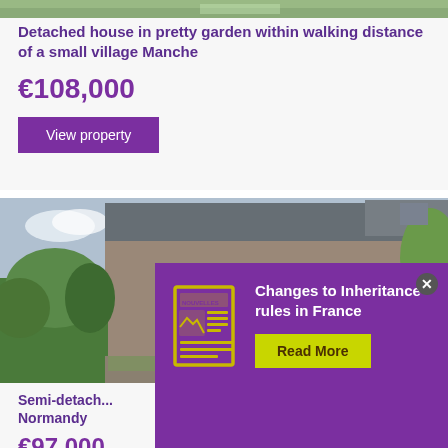[Figure (photo): Top of a garden/house photo, partially visible strip]
Detached house in pretty garden within walking distance of a small village Manche
€108,000
View property
[Figure (photo): Stone semi-detached house in Normandy, France, with brown shutters and a small garden in front]
Semi-detached ... Normandy
€97,000
Changes to Inheritance rules in France
Read More